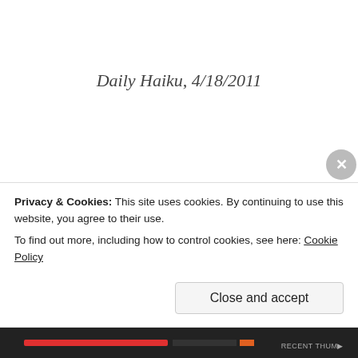Daily Haiku, 4/18/2011
A couple of months ago, my old friend John, whom I
Privacy & Cookies: This site uses cookies. By continuing to use this website, you agree to their use.
To find out more, including how to control cookies, see here: Cookie Policy
Close and accept